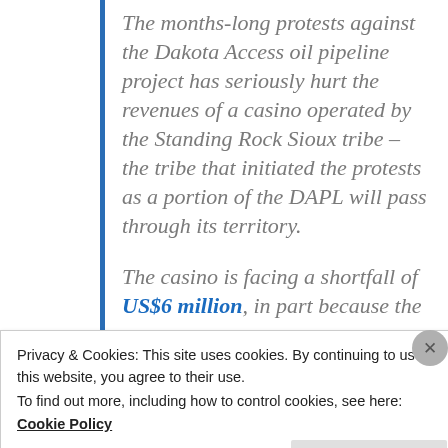The months-long protests against the Dakota Access oil pipeline project has seriously hurt the revenues of a casino operated by the Standing Rock Sioux tribe – the tribe that initiated the protests as a portion of the DAPL will pass through its territory.
The casino is facing a shortfall of US$6 million, in part because the [text continues below visible area]
Privacy & Cookies: This site uses cookies. By continuing to use this website, you agree to their use.
To find out more, including how to control cookies, see here:
Cookie Policy